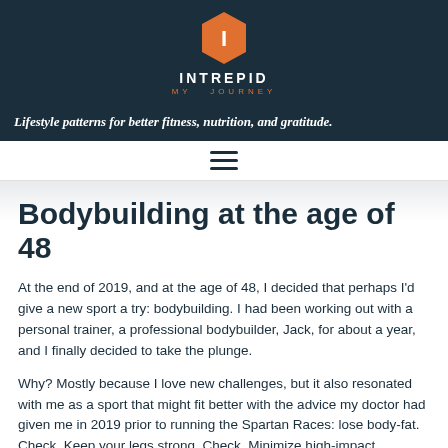[Figure (logo): Intrepid My Journey logo: orange hexagon with white letter I, with brand name INTREPID and tagline MY JOURNEY in white/orange below]
Lifestyle patterns for better fitness, nutrition, and gratitude.
[Figure (other): Hamburger menu icon (three horizontal lines)]
Bodybuilding at the age of 48
At the end of 2019, and at the age of 48, I decided that perhaps I'd give a new sport a try: bodybuilding. I had been working out with a personal trainer, a professional bodybuilder, Jack, for about a year, and I finally decided to take the plunge.
Why? Mostly because I love new challenges, but it also resonated with me as a sport that might fit better with the advice my doctor had given me in 2019 prior to running the Spartan Races: lose body-fat. Check. Keep your legs strong. Check. Minimize high-impact